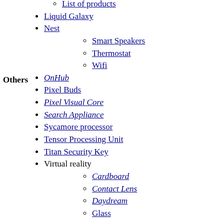List of products
Liquid Galaxy
Nest
Smart Speakers
Thermostat
Wifi
OnHub
Pixel Buds
Pixel Visual Core
Search Appliance
Sycamore processor
Tensor Processing Unit
Titan Security Key
Virtual reality
Cardboard
Contact Lens
Daydream
Glass
Related
"Don't be evil"
Gayglers
Google (verb)
Google bombing
2004 U.S. presidential election